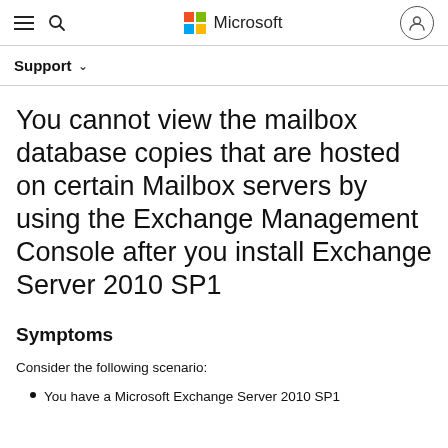Microsoft Support
You cannot view the mailbox database copies that are hosted on certain Mailbox servers by using the Exchange Management Console after you install Exchange Server 2010 SP1
Symptoms
Consider the following scenario:
You have a Microsoft Exchange Server 2010 SP1